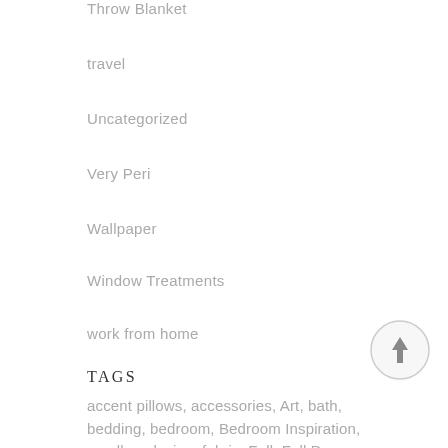Throw Blanket
travel
Uncategorized
Very Peri
Wallpaper
Window Treatments
work from home
TAGS
accent pillows, accessories, Art, bath, bedding, bedroom, Bedroom Inspiration, candles, design, fabric, Fall, Fall Decor,
[Figure (other): Back to top arrow button — circular button with upward arrow]